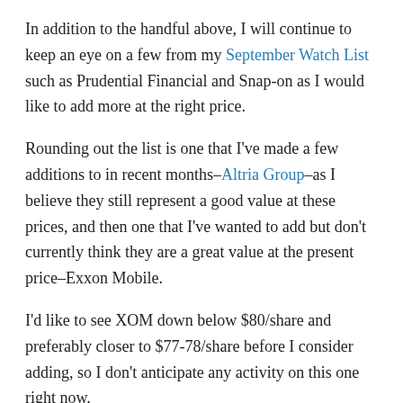In addition to the handful above, I will continue to keep an eye on a few from my September Watch List such as Prudential Financial and Snap-on as I would like to add more at the right price.
Rounding out the list is one that I've made a few additions to in recent months–Altria Group–as I believe they still represent a good value at these prices, and then one that I've wanted to add but don't currently think they are a great value at the present price–Exxon Mobile.
I'd like to see XOM down below $80/share and preferably closer to $77-78/share before I consider adding, so I don't anticipate any activity on this one right now.
Wrapping Up